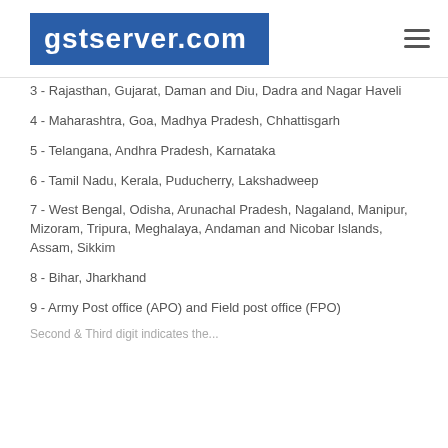gstserver.com
3 - Rajasthan, Gujarat, Daman and Diu, Dadra and Nagar Haveli
4 - Maharashtra, Goa, Madhya Pradesh, Chhattisgarh
5 - Telangana, Andhra Pradesh, Karnataka
6 - Tamil Nadu, Kerala, Puducherry, Lakshadweep
7 - West Bengal, Odisha, Arunachal Pradesh, Nagaland, Manipur, Mizoram, Tripura, Meghalaya, Andaman and Nicobar Islands, Assam, Sikkim
8 - Bihar, Jharkhand
9 - Army Post office (APO) and Field post office (FPO)
Second & Third digit indicates the...